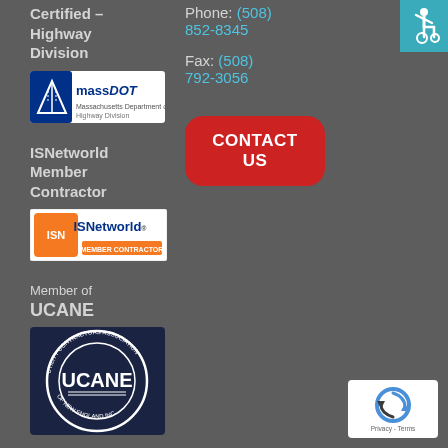Certified – Highway Division
[Figure (logo): MassDOT Highway Division logo — blue and white logo with road and arrow icon, text 'massDOT Highway Division']
ISNetworld Member Contractor
[Figure (logo): ISNetworld Member Contractor badge — orange hexagon ISN logo with text 'ISNetworld' and 'MEMBER CONTRACTOR']
Phone: (508) 852-8345
Fax: (508) 792-3056
CONTACT US
Member of
UCANE
[Figure (logo): UCANE — Utility Contractors Association of New England Inc. circular badge with dark navy background and white text/border]
[Figure (logo): Accessibility wheelchair icon on teal background in top right corner]
[Figure (logo): Google reCAPTCHA widget — white box with reCAPTCHA logo and 'Privacy - Terms' text]